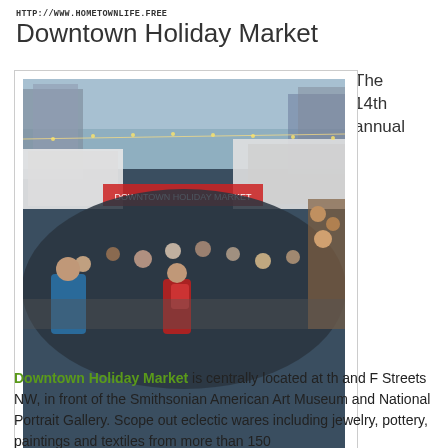HTTP://WWW.HOMETOWNLIFE.FREE
Downtown Holiday Market
[Figure (photo): Crowded outdoor holiday market street scene with white tent stalls, string lights, vendors and shoppers, twilight sky in background]
The Downtown Holiday Market is back outside the Smithsonian American Art Museum and the National Portrait Gallery through Dec. 23. (Photo: Downtown Holiday Market)
Downtown Holiday Market is centrally located at th and F Streets NW, in front of the Smithsonian American Art Museum and National Portrait Gallery. Scope out eclectic wares including jewelry, pottery, paintings and textiles from more than 150
The 14th annual